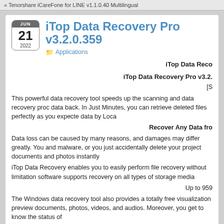« Tenorshare iCareFone for LINE v1.1.0.40 Multilingual
iTop Data Recovery Pro v3.2.0.359
Applications
iTop Data Reco
iTop Data Recovery Pro v3.2.
[S
This powerful data recovery tool speeds up the scanning and data recovery proc data back. In Just Minutes, you can retrieve deleted files perfectly as you expecte data by Loca
Recover Any Data fro
Data loss can be caused by many reasons, and damages may differ greatly. You and malware, or you just accidentally delete your project documents and photos instantly
iTop Data Recovery enables you to easily perform file recovery without limitation software supports recovery on all types of storage media
Up to 959
The Windows data recovery tool also provides a totally free visualization preview documents, photos, videos, and audios. Moreover, you get to know the status of